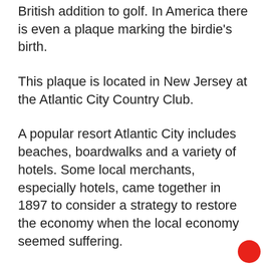British addition to golf. In America there is even a plaque marking the birdie's birth.
This plaque is located in New Jersey at the Atlantic City Country Club.
A popular resort Atlantic City includes beaches, boardwalks and a variety of hotels. Some local merchants, especially hotels, came together in 1897 to consider a strategy to restore the economy when the local economy seemed suffering.
A golf course was planned to be developed as additional attraction for the region. In June1898, on the occasion of that summer season, the first 9 holes of the 18-hole course combined with the Club House were